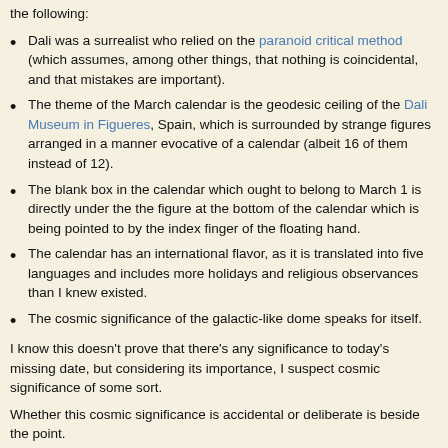the following:
Dali was a surrealist who relied on the paranoid critical method (which assumes, among other things, that nothing is coincidental, and that mistakes are important).
The theme of the March calendar is the geodesic ceiling of the Dali Museum in Figueres, Spain, which is surrounded by strange figures arranged in a manner evocative of a calendar (albeit 16 of them instead of 12).
The blank box in the calendar which ought to belong to March 1 is directly under the the figure at the bottom of the calendar which is being pointed to by the index finger of the floating hand.
The calendar has an international flavor, as it is translated into five languages and includes more holidays and religious observances than I knew existed.
The cosmic significance of the galactic-like dome speaks for itself.
I know this doesn't prove that there's any significance to today's missing date, but considering its importance, I suspect cosmic significance of some sort.
Whether this cosmic significance is accidental or deliberate is beside the point.
I think Dali would agree. Consider Dali on mistakes:
Mistakes are almost always of a sacred nature. Never try to correct them. On the contrary: rationalize them, understand them thoroughly. After that, it will be possible for you to sublimate them.
Far be it from me to correct the sacred.
What to do on a missing date which will live in mistakenly unmistakable cosmic significance?